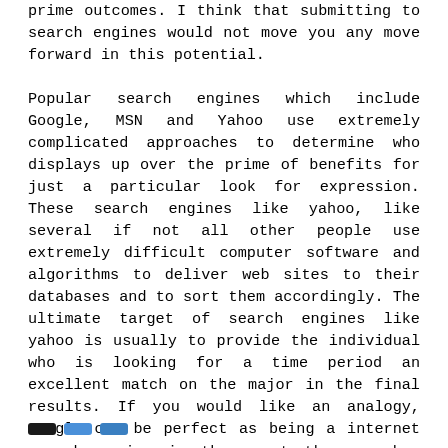prime outcomes. I think that submitting to search engines would not move you any move forward in this potential.
Popular search engines which include Google, MSN and Yahoo use extremely complicated approaches to determine who displays up over the prime of benefits for just a particular look for expression. These search engines like yahoo, like several if not all other people use extremely difficult computer software and algorithms to deliver web sites to their databases and to sort them accordingly. The ultimate target of search engines like yahoo is usually to provide the individual who is looking for a time period an excellent match on the major in the final results. If you would like an analogy, Google can be perfect as being a internet search engine in the event the searcher lands within the excellent match for his research expression every time without the need to press the “I’m Feeling Lucky” button.